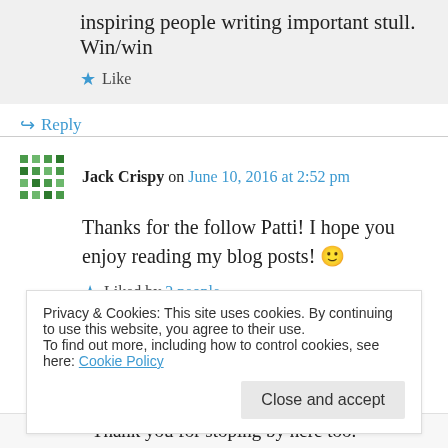inspiring people writing important stull. Win/win
Like
Reply
Jack Crispy on June 10, 2016 at 2:52 pm
Thanks for the follow Patti! I hope you enjoy reading my blog posts! 🙂
Liked by 2 people
Privacy & Cookies: This site uses cookies. By continuing to use this website, you agree to their use.
To find out more, including how to control cookies, see here: Cookie Policy
Close and accept
Thank you for stoping by here too.